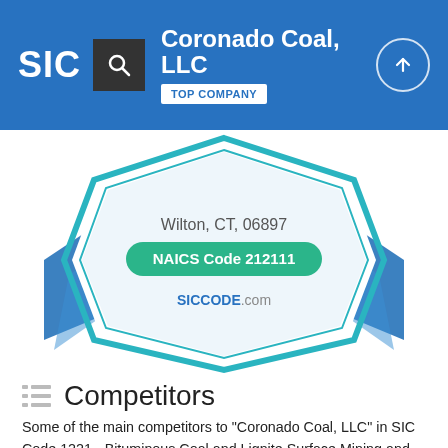SIC | Coronado Coal, LLC | TOP COMPANY
[Figure (logo): SIC Code badge/ribbon with text: Wilton, CT, 06897 | NAICS Code 212111 | SICCODE.com]
Competitors
Some of the main competitors to "Coronado Coal, LLC" in SIC Code 1221 - Bituminous Coal and Lignite Surface Mining and NAICS Code 212111 - Bituminous Coal and Lignite Surface Mining are the following: